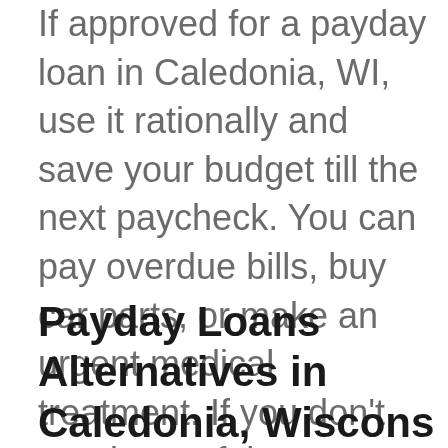If approved for a payday loan in Caledonia, WI, use it rationally and save your budget till the next paycheck. You can pay overdue bills, buy car parts, or make an urgent medical treatment. If you don't need any of these, decide on your own how to spend your cash advances.
Payday Loans Alternatives in Caledonia, Wisconsin